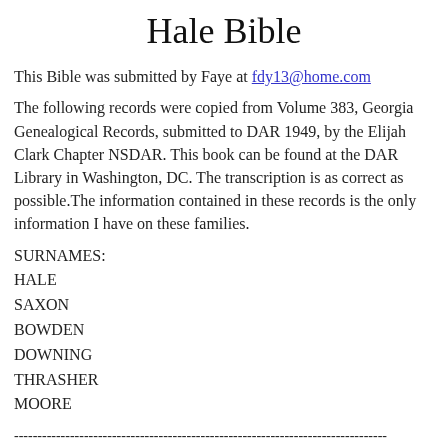Hale Bible
This Bible was submitted by Faye at fdy13@home.com
The following records were copied from Volume 383, Georgia Genealogical Records, submitted to DAR 1949, by the Elijah Clark Chapter NSDAR. This book can be found at the DAR Library in Washington, DC. The transcription is as correct as possible.The information contained in these records is the only information I have on these families.
SURNAMES:
HALE
SAXON
BOWDEN
DOWNING
THRASHER
MOORE
--------------------------------------------------------------------------------
-----------